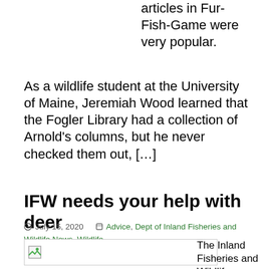articles in Fur-Fish-Game were very popular. As a wildlife student at the University of Maine, Jeremiah Wood learned that the Fogler Library had a collection of Arnold’s columns, but he never checked them out, […]
IFW needs your help with deer
July 15, 2020   Advice, Dept of Inland Fisheries and Wildlife News, Wildlife
By George Smith
[Figure (photo): Broken image placeholder thumbnail]
The Inland Fisheries and Wildlife